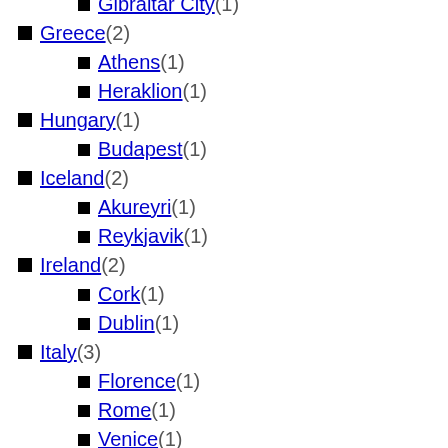Gibraltar City (1)
Greece (2)
Athens (1)
Heraklion (1)
Hungary (1)
Budapest (1)
Iceland (2)
Akureyri (1)
Reykjavik (1)
Ireland (2)
Cork (1)
Dublin (1)
Italy (3)
Florence (1)
Rome (1)
Venice (1)
Latvia (1)
Riga (1)
Liechtenstein (1)
Vaduz (1)
Lithuania (1)
Vilnius (1)
Luxembourg (1)
Luxembourg City (1)
Montenegro (1)